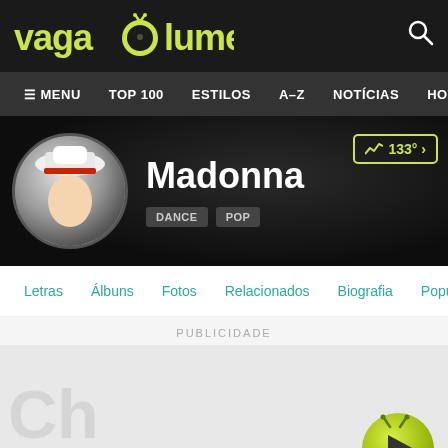[Figure (screenshot): Vagalume music website header with logo]
≡ MENU  TOP 100  ESTILOS  A-Z  NOTÍCIAS  HOT
[Figure (photo): Madonna artist profile with circular avatar, genre tags DANCE and POP, trending badge 133°]
Letras  Álbuns  Fotos  Relacionados  Biografia  Populari
PUBLICIDADE
[Figure (illustration): Advertisement area with Vagalume play button (green circle with triangle)]
[Figure (illustration): Arquivo Vivo podcast banner with two men in suits]